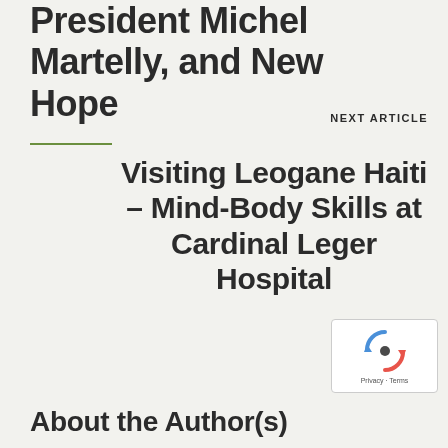Haiti's New President Michel Martelly, and New Hope
NEXT ARTICLE
Visiting Leogane Haiti – Mind-Body Skills at Cardinal Leger Hospital
About the Author(s)